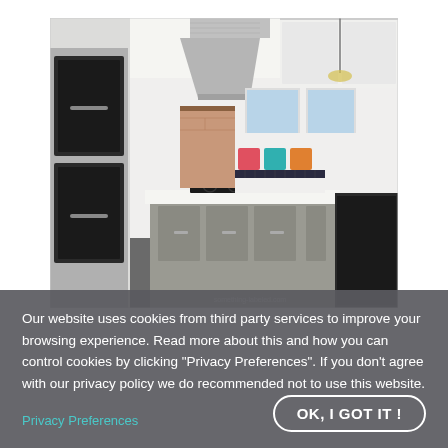[Figure (photo): Modern kitchen interior with white cabinets, large stainless steel island range hood, kitchen island with grey cabinetry and black cooktop, double wall ovens on the left, colorful banquette seating in the background.]
Our website uses cookies from third party services to improve your browsing experience. Read more about this and how you can control cookies by clicking "Privacy Preferences". If you don't agree with our privacy policy we do recommended not to use this website.
Privacy Preferences
OK, I GOT IT !